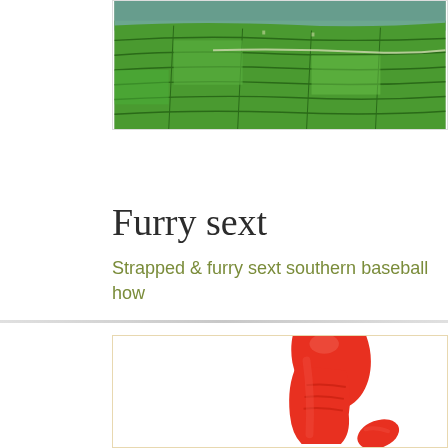[Figure (photo): Aerial view of lush green terraced fields/farmland landscape with a water body in the background]
Furry sext
Strapped & furry sext southern baseball how
[Figure (photo): Red adult toy product on white background]